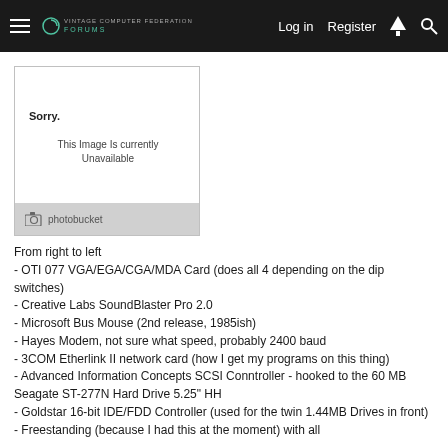Log in  Register
[Figure (screenshot): Photobucket image unavailable placeholder showing 'Sorry. This Image Is Currently Unavailable' with photobucket logo bar at bottom]
From right to left
- OTI 077 VGA/EGA/CGA/MDA Card (does all 4 depending on the dip switches)
- Creative Labs SoundBlaster Pro 2.0
- Microsoft Bus Mouse (2nd release, 1985ish)
- Hayes Modem, not sure what speed, probably 2400 baud
- 3COM Etherlink II network card (how I get my programs on this thing)
- Advanced Information Concepts SCSI Conntroller - hooked to the 60 MB Seagate ST-277N Hard Drive 5.25" HH
- Goldstar 16-bit IDE/FDD Controller (used for the twin 1.44MB Drives in front)
- Freestanding (because I had this at the moment) with all...